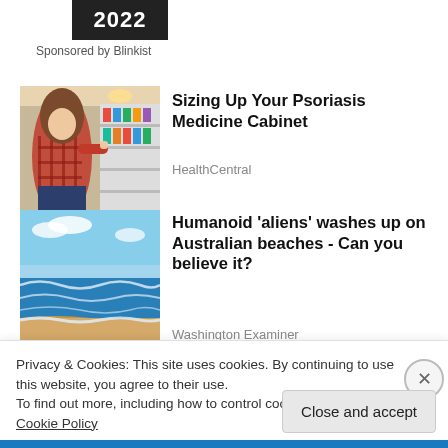[Figure (other): Black banner with text '2022']
Sponsored by Blinkist
[Figure (photo): Woman browsing shelves in a pharmacy/store, wearing a plaid shirt]
Sizing Up Your Psoriasis Medicine Cabinet
HealthCentral
[Figure (photo): Beach scene with ocean waves and blue sky]
Humanoid 'aliens' washes up on Australian beaches - Can you believe it?
Washington Examiner
Privacy & Cookies: This site uses cookies. By continuing to use this website, you agree to their use.
To find out more, including how to control cookies, see here: Cookie Policy
Close and accept